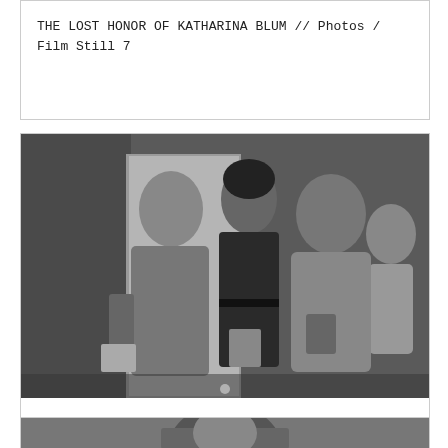THE LOST HONOR OF KATHARINA BLUM // Photos / Film Still 7
[Figure (photo): Black and white film still showing three women, one in the center with dark hair in a black outfit being escorted by a woman in a turtleneck sweater on the left and confronted by a woman in a coat on the right, with another person visible in the background. From 'The Lost Honor of Katharina Blum'.]
THE LOST HONOR OF KATHARINA BLUM // Photos / Film Still 6
[Figure (photo): Partial view of another black and white film still showing a person, cropped at the bottom of the page.]